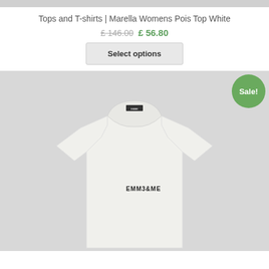[Figure (photo): Top grey strip representing cropped product image above]
Tops and T-shirts | Marella Womens Pois Top White
£ 146.00 £ 56.80
Select options
[Figure (photo): White women's t-shirt with EMME&ME logo on light grey background, with green Sale! badge in top right corner]